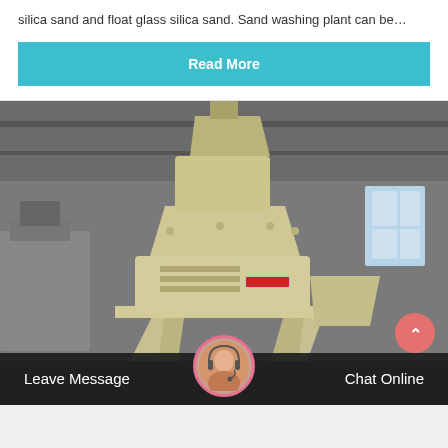silica sand and float glass silica sand. Sand washing plant can be…
Read More
[Figure (photo): Industrial sand washing/crushing machine (VSI sand maker) photographed inside a factory warehouse. The machine is large, cream/beige colored with multiple tiers and structural support frames. Chinese safety signage visible in background.]
Leave Message
Chat Online